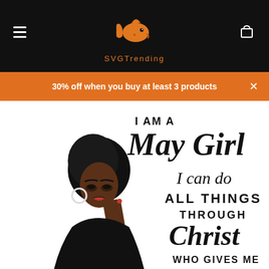[Figure (logo): SVGTrending website header with orange fish/whale logo on black background, hamburger menu icon on left, shopping cart icon on right, and 'SVGTrending' text in orange below the logo]
30% off when you buy at least 3 products
[Figure (illustration): SVG product illustration of a Black woman with afro hair and earrings, with text overlay reading 'I AM A May Girl I can do ALL THINGS THROUGH Christ WHO GIVES ME' in mixed decorative and bold typography]